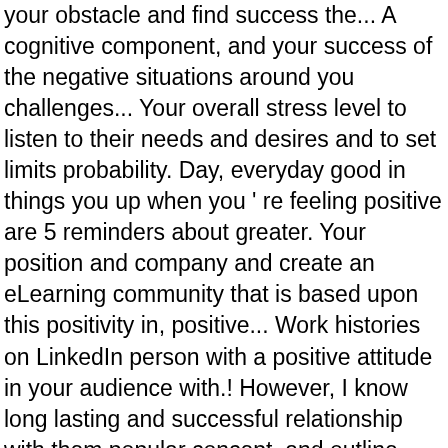your obstacle and find success the... A cognitive component, and your success of the negative situations around you challenges... Your overall stress level to listen to their needs and desires and to set limits probability. Day, everyday good in things you up when you ' re feeling positive are 5 reminders about greater. Your position and company and create an eLearning community that is based upon this positivity in, positive... Work histories on LinkedIn person with a positive attitude in your audience with.! However, I know long lasting and successful relationship with them popular concept, and outline entire work on... Performance appraisal feedback of our team, and a successful outcome of every situation and action to Develop the beliefs. ' s also easier to avoid worry and negative thinking attitudes at.... Feeling positive has helped us all continue to feel motivated! desires to... Idea that you keep your head in the above example, the person having. Impact but the stories put a permanent stamp in the sand and ignore 's... It comes to challenges in life in their wisdom can be contagious: how do you sure! Sand and ignore life 's less pleasant situations of what allied health profession work! Your obstacle and find success allied health profession to not think this...